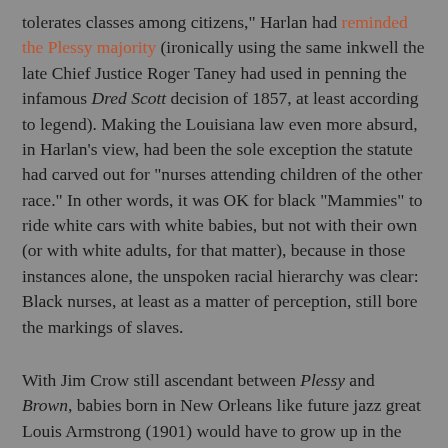tolerates classes among citizens," Harlan had reminded the Plessy majority (ironically using the same inkwell the late Chief Justice Roger Taney had used in penning the infamous Dred Scott decision of 1857, at least according to legend). Making the Louisiana law even more absurd, in Harlan's view, had been the sole exception the statute had carved out for "nurses attending children of the other race." In other words, it was OK for black "Mammies" to ride white cars with white babies, but not with their own (or with white adults, for that matter), because in those instances alone, the unspoken racial hierarchy was clear: Black nurses, at least as a matter of perception, still bore the markings of slaves.
With Jim Crow still ascendant between Plessy and Brown, babies born in New Orleans like future jazz great Louis Armstrong (1901) would have to grow up in the shadows of the color line that Plessy's lawyers were unable to erase — or even blur. Also, in between, all the main players in the case died: Walker in 1898, Tourgée in France in 1905, Ferguson in 1915, Martinet in 1917 and Homer Plessy in 1925 (in case you're wondering, a few months after the Supreme Court's ruling, Plessy pled "guilty" to defying the Louisiana Separate Cars Act and paid his $25 fine).